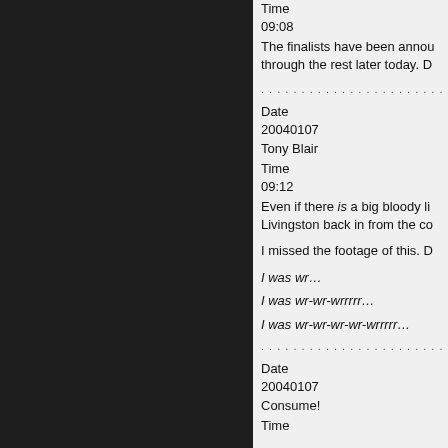Time
09:08
The finalists have been announced through the rest later today. D
. . . . . . . . . . . . . . . . . . . . . . .
Date
20040107
Tony Blair
Time
09:12
Even if there is a big bloody li Livingston back in from the co
I missed the footage of this. D
I was wr…
I was wr-wr-wrrrrr…
I was wr-wr-wr-wr-wrrrrr…
. . . . . . . . . . . . . . . . . . . . . . .
Date
20040107
Consume!
Time